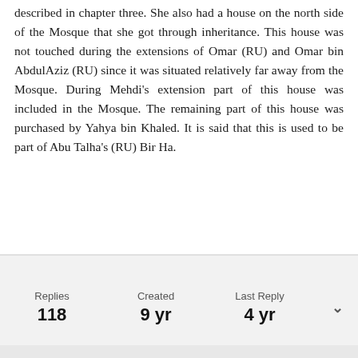described in chapter three. She also had a house on the north side of the Mosque that she got through inheritance. This house was not touched during the extensions of Omar (RU) and Omar bin AbdulAziz (RU) since it was situated relatively far away from the Mosque. During Mehdi's extension part of this house was included in the Mosque. The remaining part of this house was purchased by Yahya bin Khaled. It is said that this is used to be part of Abu Talha's (RU) Bir Ha.
| Replies | Created | Last Reply |
| --- | --- | --- |
| 118 | 9 yr | 4 yr |